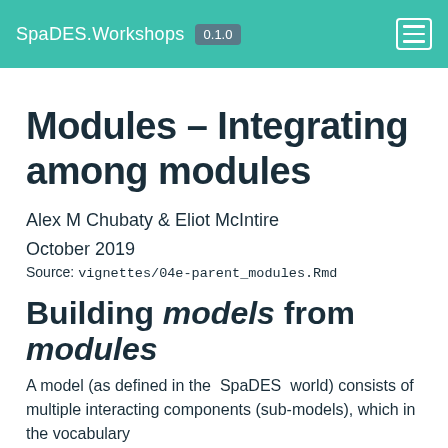SpaDES.Workshops 0.1.0
Modules – Integrating among modules
Alex M Chubaty & Eliot McIntire
October 2019
Source: vignettes/04e-parent_modules.Rmd
Building models from modules
A model (as defined in the SpaDES world) consists of multiple interacting components (sub-models), which in the vocabulary